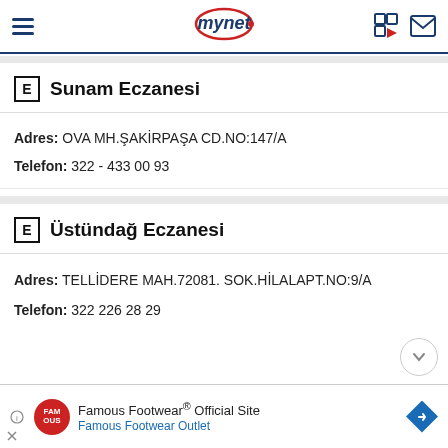mynet
E Sunam Eczanesi
Adres: OVA MH.ŞAKİRPAŞA CD.NO:147/A
Telefon: 322 - 433 00 93
E Üstündağ Eczanesi
Adres: TELLİDERE MAH.72081. SOK.HİLALAPT.NO:9/A
Telefon: 322 226 28 29
[Figure (infographic): Famous Footwear Official Site advertisement banner with red circular logo, blue text and diamond arrow icon]